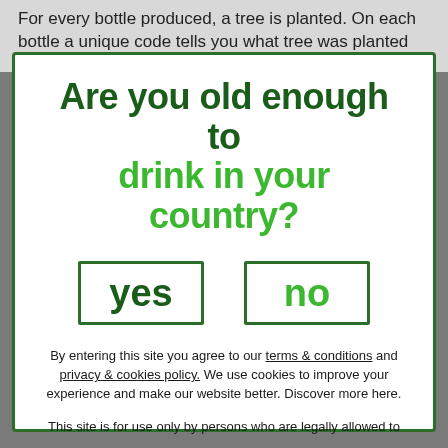For every bottle produced, a tree is planted. On each bottle a unique code tells you what tree was planted
Are you old enough to drink in your country?
yes
no
By entering this site you agree to our terms & conditions and privacy & cookies policy. We use cookies to improve your experience and make our website better. Discover more here.
This site is for use only by persons who are legally allowed to purchase alcohol in their country.